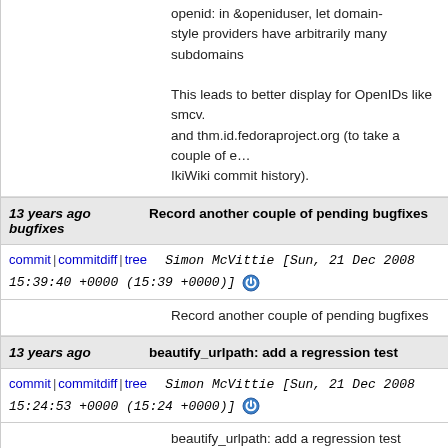openid: in &openiduser, let domain-style providers have arbitrarily many subdomains

This leads to better display for OpenIDs like smcv. and thm.id.fedoraproject.org (to take a couple of e… IkiWiki commit history).
13 years ago bugfixes	Record another couple of pending bugfixes
commit | commitdiff | tree	Simon McVittie [Sun, 21 Dec 2008 15:39:40 +0000 (15:39 +0000)]
Record another couple of pending bugfixes
13 years ago	beautify_urlpath: add a regression test
commit | commitdiff | tree	Simon McVittie [Sun, 21 Dec 2008 15:24:53 +0000 (15:24 +0000)]
beautify_urlpath: add a regression test
13 years ago	beautify_urlpath: if path already starts with ./, don't add another ./
commit | commitdiff | tree	Simon McVittie [Sun, 21 Dec 2008 15:24:42 +0000 (15:24 +0000)]